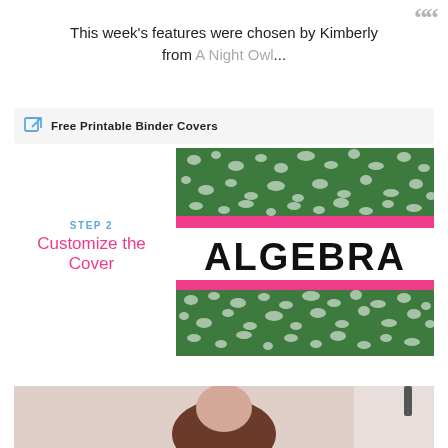This week's features were chosen by Kimberly from A Night Owl...
Free Printable Binder Covers
[Figure (photo): Binder cover customization screenshot showing a green leopard print pattern with ALGEBRA text and pink horizontal stripes, with STEP 2 Customize the Cover overlay text]
[Figure (photo): Bottom portion of a photo showing a person with brown hair]